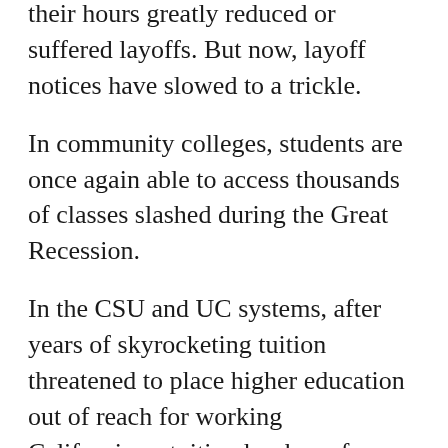their hours greatly reduced or suffered layoffs. But now, layoff notices have slowed to a trickle.
In community colleges, students are once again able to access thousands of classes slashed during the Great Recession.
In the CSU and UC systems, after years of skyrocketing tuition threatened to place higher education out of reach for working Californians, tuition has been frozen.
All this is thanks to the wisdom of voters who passed Proposition 30 to provide critical revenues when the state faced daunting fiscal challenges.